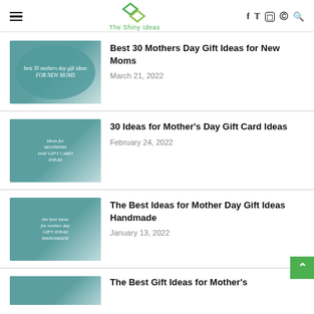The Shiny Ideas — navigation header with hamburger menu, logo, social icons (Facebook, Twitter, Instagram, Pinterest, Search)
Best 30 Mothers Day Gift Ideas for New Moms
March 21, 2022
30 Ideas for Mother's Day Gift Card Ideas
February 24, 2022
The Best Ideas for Mother Day Gift Ideas Handmade
January 13, 2022
The Best Gift Ideas for Mother's